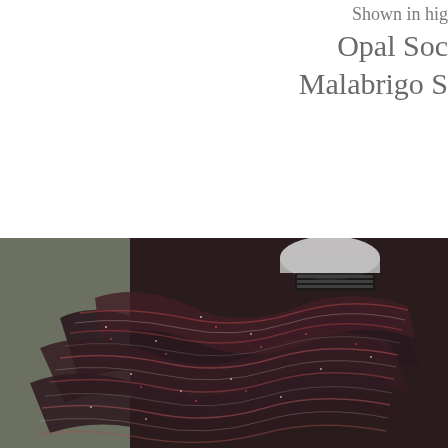Shown in hig
Opal Soc
Malabrigo S
[Figure (photo): Close-up photograph of a dark multicolored (red, black, white/grey) knitted cowl or infinity scarf draped on a mannequin stand. The knitting shows textured stitch patterns. A yarn label/ball is partially visible in the background.]